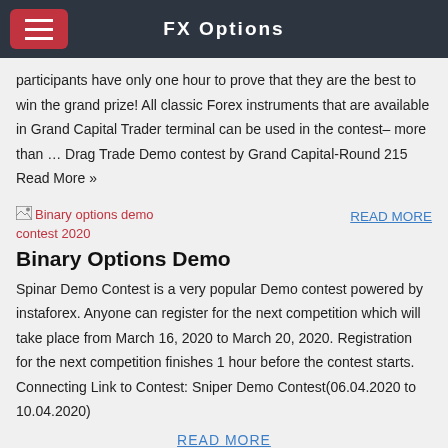FX Options
participants have only one hour to prove that they are the best to win the grand prize! All classic Forex instruments that are available in Grand Capital Trader terminal can be used in the contest– more than … Drag Trade Demo contest by Grand Capital-Round 215 Read More »
[Figure (photo): Broken image icon with red label text: Binary options demo contest 2020]
READ MORE
Binary Options Demo
Spinar Demo Contest is a very popular Demo contest powered by instaforex. Anyone can register for the next competition which will take place from March 16, 2020 to March 20, 2020. Registration for the next competition finishes 1 hour before the contest starts. Connecting Link to Contest: Sniper Demo Contest(06.04.2020 to 10.04.2020)
READ MORE